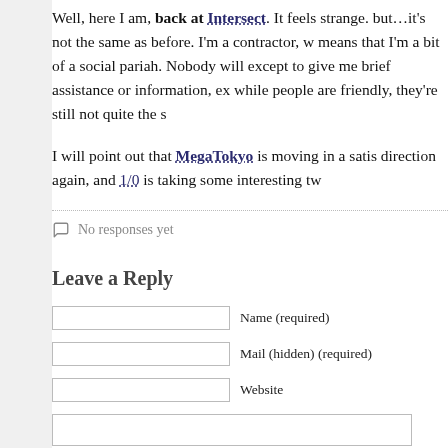Well, here I am, back at Intersect. It feels strange. but…it's not the same as before. I'm a contractor, w means that I'm a bit of a social pariah. Nobody will except to give me brief assistance or information, ex while people are friendly, they're still not quite the s
I will point out that MegaTokyo is moving in a satis direction again, and 1/0 is taking some interesting tw
No responses yet
Leave a Reply
Name (required)
Mail (hidden) (required)
Website